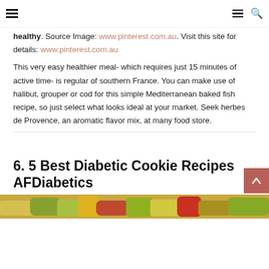[hamburger menu icon] [hamburger menu icon] [search icon]
healthy. Source Image: www.pinterest.com.au. Visit this site for details: www.pinterest.com.au
This very easy healthier meal- which requires just 15 minutes of active time- is regular of southern France. You can make use of halibut, grouper or cod for this simple Mediterranean baked fish recipe, so just select what looks ideal at your market. Seek herbes de Provence, an aromatic flavor mix, at many food store.
6. 5 Best Diabetic Cookie Recipes AFDiabetics
[Figure (photo): Bottom strip of a food photo showing colorful vegetables/ingredients]